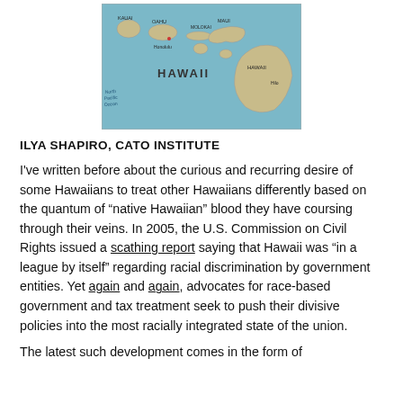[Figure (map): Map of the Hawaiian Islands showing the main islands including Hawaii (Big Island), Maui, Oahu, Kauai, and smaller islands, with ocean background in light blue/teal.]
ILYA SHAPIRO, CATO INSTITUTE
I've written before about the curious and recurring desire of some Hawaiians to treat other Hawaiians differently based on the quantum of “native Hawaiian” blood they have coursing through their veins. In 2005, the U.S. Commission on Civil Rights issued a scathing report saying that Hawaii was “in a league by itself” regarding racial discrimination by government entities. Yet again and again, advocates for race-based government and tax treatment seek to push their divisive policies into the most racially integrated state of the union.
The latest such development comes in the form of